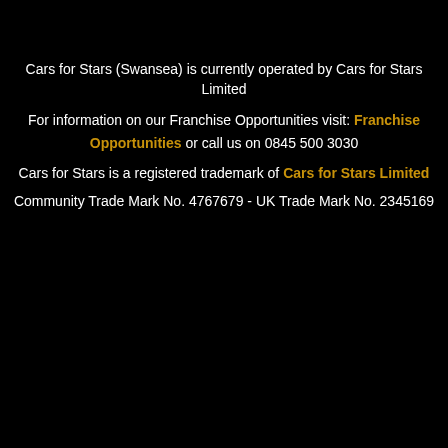Cars for Stars (Swansea) is currently operated by Cars for Stars Limited
For information on our Franchise Opportunities visit: Franchise Opportunities or call us on 0845 500 3030
Cars for Stars is a registered trademark of Cars for Stars Limited
Community Trade Mark No. 4767679 - UK Trade Mark No. 2345169